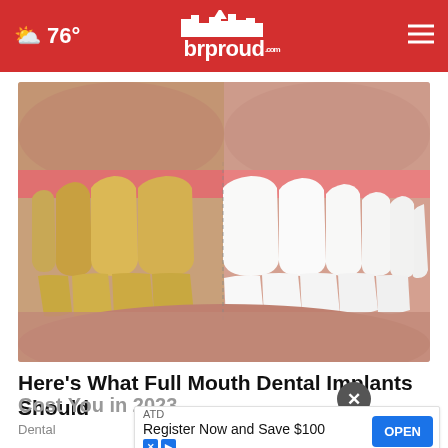76° brproud.com
[Figure (photo): Close-up photo of a person's smile showing a before-and-after dental comparison: left half shows yellowed/stained teeth, right half shows bright white teeth after dental implants]
Here's What Full Mouth Dental Implants Should Cost You in 2023
Dental
ATD Register Now and Save $100 OPEN